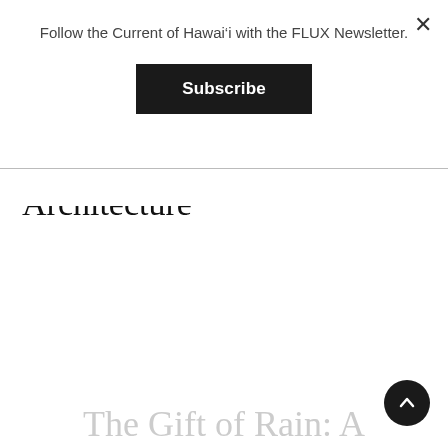Follow the Current of Hawai'i with the FLUX Newsletter.
Subscribe
Architecture
The Gift of Rain: A